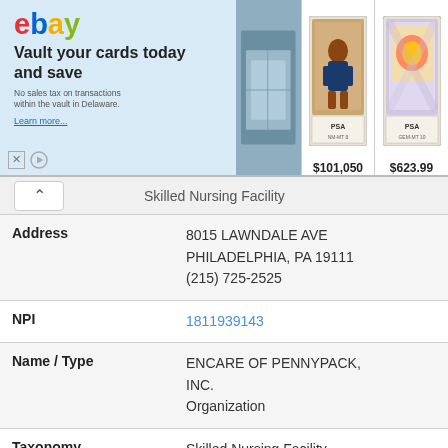[Figure (screenshot): eBay advertisement banner: 'Vault your cards today and save' with trading card images priced at $101,050 and $623.99]
| Field | Value |
| --- | --- |
|  | Skilled Nursing Facility |
| Address | 8015 LAWNDALE AVE
PHILADELPHIA, PA 19111
(215) 725-2525 |
| NPI | 1811939143 |
| Name / Type | ENCARE OF PENNYPACK, INC.
Organization |
| Taxonomy | Skilled Nursing Facility |
| Address | 8015 LAWNDALE AVE
PHILADELPHIA, PA 19111
(215) 725-2525 |
| NPI | 1376205757 |